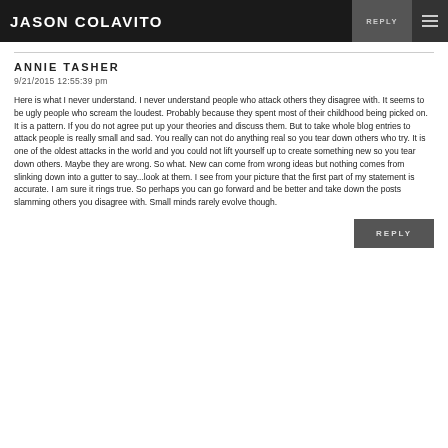JASON COLAVITO | REPLY
ANNIE TASHER
9/21/2015 12:55:39 pm
Here is what I never understand. I never understand people who attack others they disagree with. It seems to be ugly people who scream the loudest. Probably because they spent most of their childhood being picked on. It is a pattern. If you do not agree put up your theories and discuss them. But to take whole blog entries to attack people is really small and sad. You really can not do anything real so you tear down others who try. It is one of the oldest attacks in the world and you could not lift yourself up to create something new so you tear down others. Maybe they are wrong. So what. New can come from wrong ideas but nothing comes from slinking down into a gutter to say...look at them. I see from your picture that the first part of my statement is accurate. I am sure it rings true. So perhaps you can go forward and be better and take down the posts slamming others you disagree with. Small minds rarely evolve though.
REPLY